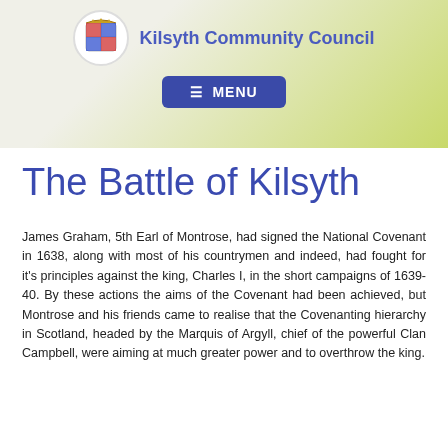Kilsyth Community Council
The Battle of Kilsyth
James Graham, 5th Earl of Montrose, had signed the National Covenant in 1638, along with most of his countrymen and indeed, had fought for it's principles against the king, Charles I, in the short campaigns of 1639-40. By these actions the aims of the Covenant had been achieved, but Montrose and his friends came to realise that the Covenanting hierarchy in Scotland, headed by the Marquis of Argyll, chief of the powerful Clan Campbell, were aiming at much greater power and to overthrow the king.